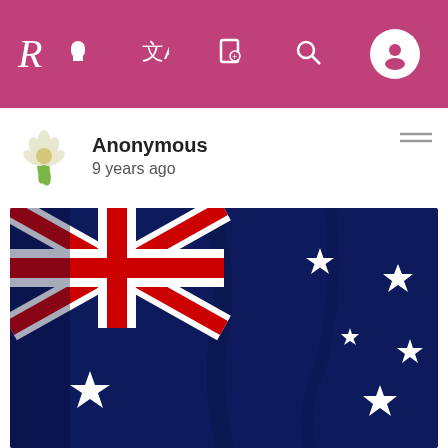R (logo) [navigation icons: memorial, translate, edit, search, profile]
Anonymous
9 years ago
[Figure (photo): Australian flag waving, dark blue background with Union Jack in upper left corner and white stars on the right side]
Aehru kzpkgtl [url=http://www.chloezoku.com/]NN NN[/url] Nrove vdbmapp Fjcaw scvafhp